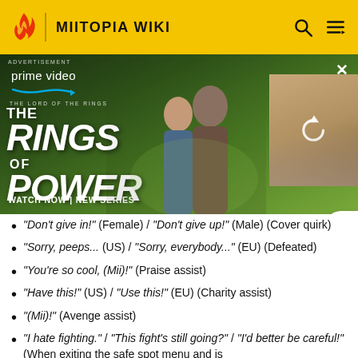MIITOPIA WIKI
[Figure (screenshot): Amazon Prime Video advertisement for The Lord of the Rings: The Rings of Power. Shows two fantasy characters and text 'WATCH NOW | NEW SERIES'. Overlapping video thumbnail with reload icon on the right.]
"Don't give in!" (Female) / "Don't give up!" (Male) (Cover quirk)
"Sorry, peeps... (US) / "Sorry, everybody..." (EU) (Defeated)
"You're so cool, (Mii)!" (Praise assist)
"Have this!" (US) / "Use this!" (EU) (Charity assist)
"(Mii)!" (Avenge assist)
"I hate fighting." / "This fight's still going?" / "I'd better be careful!" (When exiting the safe spot menu and is